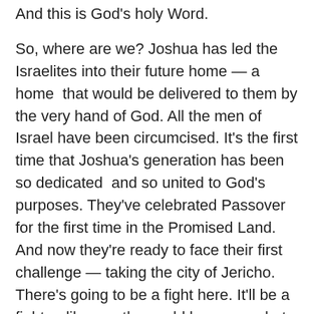And this is God's holy Word.
So, where are we? Joshua has led the Israelites into their future home — a home that would be delivered to them by the very hand of God. All the men of Israel have been circumcised. It's the first time that Joshua's generation has been so dedicated and so united to God's purposes. They've celebrated Passover for the first time in the Promised Land. And now they're ready to face their first challenge — taking the city of Jericho. There's going to be a fight here. It'll be a fight unlike any the world has seen, but it's still going to be a fight. A battle.
But before this battle takes place, we get these few verses here where Joshua learns the very same perspective that some of us are going to need in the coming week. Because Joshua kind of makes a mistake